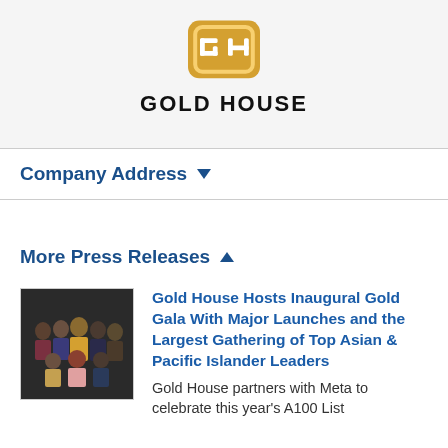[Figure (logo): Gold House logo: golden/orange rounded square icon with GH letters, and text GOLD HOUSE below in black bold]
Company Address ▼
More Press Releases ▲
[Figure (photo): Group photo of Asian American leaders dressed in formal attire at Gold Gala event]
Gold House Hosts Inaugural Gold Gala With Major Launches and the Largest Gathering of Top Asian & Pacific Islander Leaders
Gold House partners with Meta to celebrate this year's A100 List